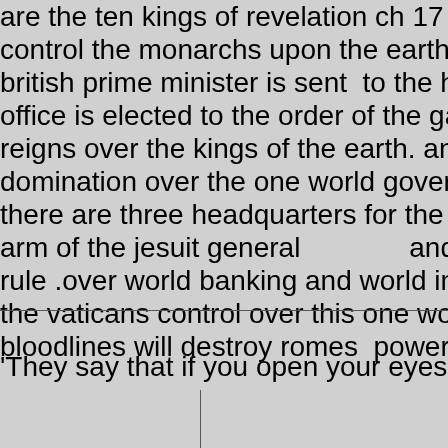are the ten kings of revelation ch 17 and they govern control the monarchs upon the earth wich oversee the british prime minister is sent  to the head of the order office is elected to the order of the garter, revelation ch reigns over the kings of the earth. and in verse 16. go domination over the one world government . there are three headquarters for the jesuit global netwo arm of the jesuit general                     and the london rule .over world banking and world intelligence the vaticans control over this one world government is bloodlines will destroy romes  power over all governme
'They say that if you open your eyes properly, you will